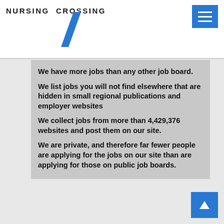NURSING CROSSING
We have more jobs than any other job board.
We list jobs you will not find elsewhere that are hidden in small regional publications and employer websites
We collect jobs from more than 4,429,376 websites and post them on our site.
We are private, and therefore far fewer people are applying for the jobs on our site than are applying for those on public job boards.
What I liked about the service is that it had such a comprehensive collection of jobs! I was using a number of